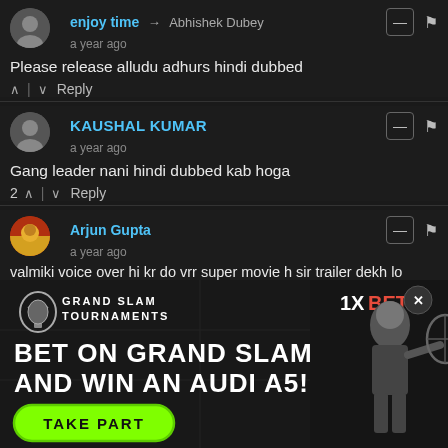enjoy time → Abhishek Dubey | a year ago
Please release alludu adhurs hindi dubbed
^ | v Reply
KAUSHAL KUMAR | a year ago
Gang leader nani hindi dubbed kab hoga
2 ^ | v Reply
Arjun Gupta | a year ago
valmiki voice over hi kr do vrr super movie h sir trailer dekh lo
[Figure (infographic): Advertisement banner for 1xBet Grand Slam Tournaments betting. Text reads: GRAND SLAM TOURNAMENTS, BET ON GRAND SLAM AND WIN AN AUDI A5!, with TAKE PART button. Shows tennis player image and 1xBet logo.]